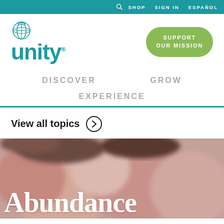SHOP   SIGN IN   ESPAÑOL
[Figure (logo): Unity logo with teal globe icon and 'unity' wordmark in teal]
SUPPORT OUR MISSION
DISCOVER
GROW
EXPERIENCE
View all topics ❯
[Figure (photo): Blurred background photo of people's faces looking up, with large white serif text 'Abundance' at the bottom]